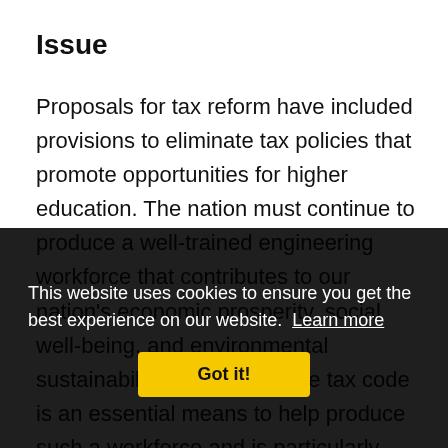Issue
Proposals for tax reform have included provisions to eliminate tax policies that promote opportunities for higher education. The nation must continue to produce a well-trained engineering workforce that contributes to our nation's economic prosperity, social well-being, and environmental sustainability. Support via the tax code is an essential means to help produce such a workforce and is particularly necessary to make higher education affordable and accessible to middle- and low-income Americans, which includes many first-generation engineering students.
This website uses cookies to ensure you get the best experience on our website. Learn more
Got it!